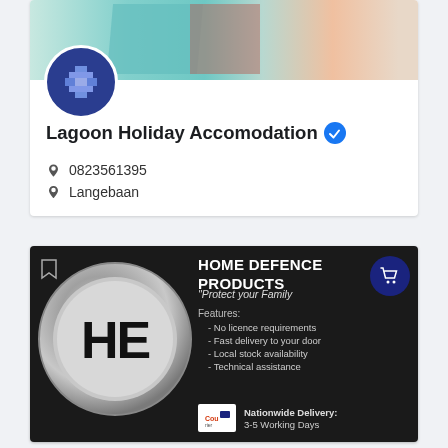[Figure (screenshot): Lagoon Holiday Accomodation Facebook/business profile card with banner image showing teal/coral objects, circular avatar with pixel-art character icon on dark blue background]
Lagoon Holiday Accomodation
0823561395
Langebaan
[Figure (screenshot): Home Defence Products advertisement on dark background. Features a metallic circle emblem with letters HE, title HOME DEFENCE PRODUCTS, tagline Protect your Family, features list: No licence requirements, Fast delivery to your door, Local stock availability, Technical assistance. Bottom: Nationwide Delivery 3-5 Working Days with Courier Guy logo.]